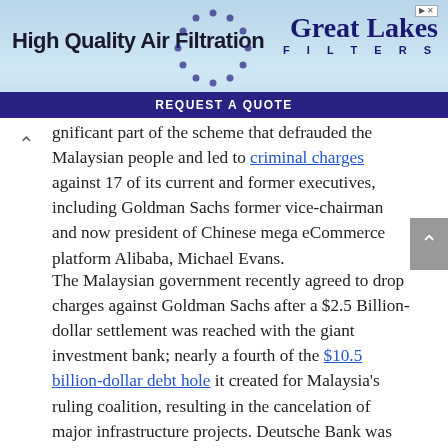[Figure (other): Advertisement banner for Great Lakes Filters featuring blue sky background, company logo, text 'High Quality Air Filtration' and a 'REQUEST A QUOTE' button]
gnificant part of the scheme that defrauded the Malaysian people and led to criminal charges against 17 of its current and former executives, including Goldman Sachs former vice-chairman and now president of Chinese mega eCommerce platform Alibaba, Michael Evans.
The Malaysian government recently agreed to drop charges against Goldman Sachs after a $2.5 Billion-dollar settlement was reached with the giant investment bank; nearly a fourth of the $10.5 billion-dollar debt hole it created for Malaysia's ruling coalition, resulting in the cancelation of major infrastructure projects. Deutsche Bank was also involved in the multi-pronged attack of the Western financial vultures on the Malay through the provision of hundreds of millions